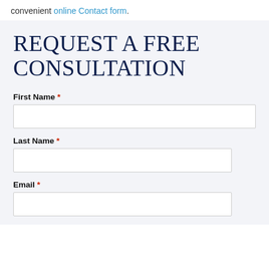convenient online Contact form.
REQUEST A FREE CONSULTATION
First Name *
Last Name *
Email *